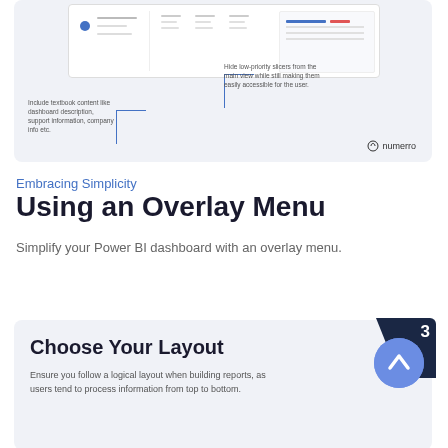[Figure (screenshot): Dashboard UI mockup showing overlay menu concept with annotation callouts: 'Include textbook content like dashboard description, support information, company info etc.' and 'Hide low-priority slicers from the main view while still making them easily accessible for the user.' Numerro logo in bottom right.]
Embracing Simplicity
Using an Overlay Menu
Simplify your Power BI dashboard with an overlay menu.
[Figure (screenshot): Section card with number badge '3', a blue circle with up-arrow chevron icon, title 'Choose Your Layout', and text 'Ensure you follow a logical layout when building reports, as users tend to process information from top to bottom.']